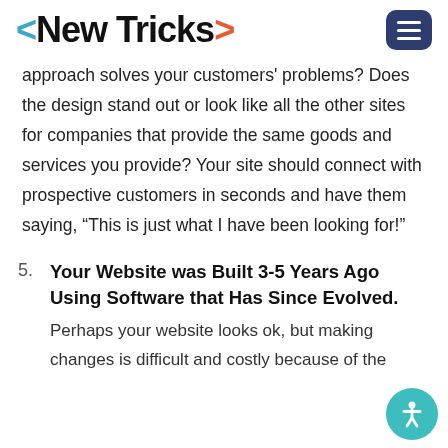<New Tricks>
approach solves your customers' problems? Does the design stand out or look like all the other sites for companies that provide the same goods and services you provide? Your site should connect with prospective customers in seconds and have them saying, “This is just what I have been looking for!”
5. Your Website was Built 3-5 Years Ago Using Software that Has Since Evolved. Perhaps your website looks ok, but making changes is difficult and costly because of the